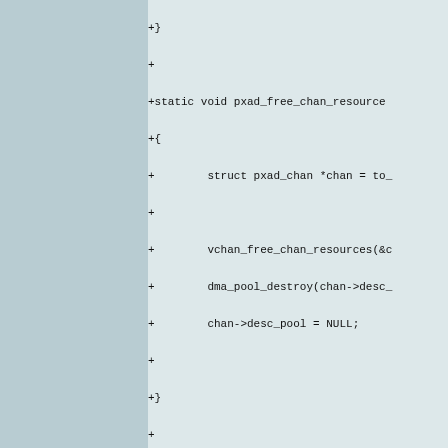[Figure (screenshot): Code diff showing C source code additions for pxad_free_chan_resources and pxad_free_desc functions, displayed as a patch/diff with '+' prefixed lines on a light blue/teal background.]